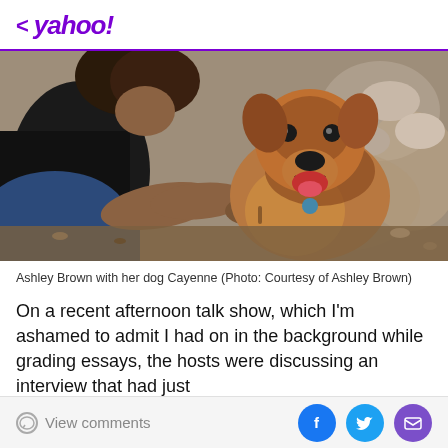< yahoo!
[Figure (photo): Woman crouching outdoors hugging a medium-sized brown dog (Cayenne) that is facing the camera with mouth open, rocky/mulch background]
Ashley Brown with her dog Cayenne (Photo: Courtesy of Ashley Brown)
On a recent afternoon talk show, which I'm ashamed to admit I had on in the background while grading essays, the hosts were discussing an interview that had just
View comments  [Facebook] [Twitter] [Email]